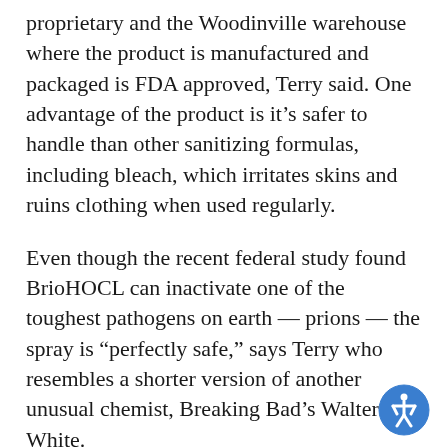proprietary and the Woodinville warehouse where the product is manufactured and packaged is FDA approved, Terry said. One advantage of the product is it's safer to handle than other sanitizing formulas, including bleach, which irritates skins and ruins clothing when used regularly.
Even though the recent federal study found BrioHOCL can inactivate one of the toughest pathogens on earth — prions — the spray is "perfectly safe," says Terry who resembles a shorter version of another unusual chemist, Breaking Bad's Walter White.
“See,” he says, aiming a sample size bottle toward his face, “I can spray it my eyes. Doesn’t hurt.” (Terry has also been known to stand in buckets of the stuff to prove it doesn’t sting, irritate or burn.)